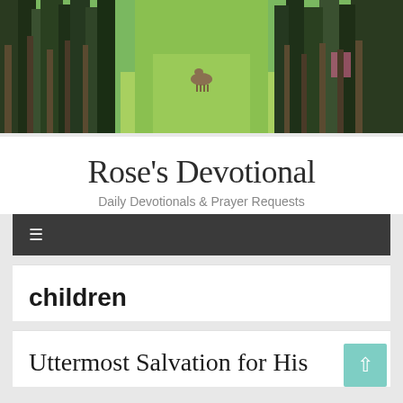[Figure (photo): Header photo of a forest path with green grass, tall trees on both sides, and a deer standing in the middle of the path. A small sign is visible on the right side.]
Rose's Devotional
Daily Devotionals & Prayer Requests
[Figure (other): Dark navigation bar with a hamburger menu icon (three horizontal lines)]
children
Uttermost Salvation for His